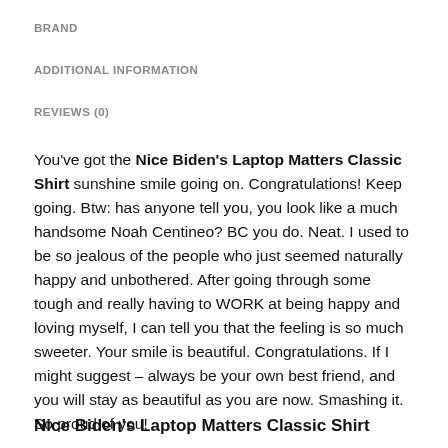BRAND
ADDITIONAL INFORMATION
REVIEWS (0)
You’ve got the Nice Biden’s Laptop Matters Classic Shirt sunshine smile going on. Congratulations! Keep going. Btw: has anyone tell you, you look like a much handsome Noah Centineo? BC you do. Neat. I used to be so jealous of the people who just seemed naturally happy and unbothered. After going through some tough and really having to WORK at being happy and loving myself, I can tell you that the feeling is so much sweeter. Your smile is beautiful. Congratulations. If I might suggest – always be your own best friend, and you will stay as beautiful as you are now. Smashing it. So proud of you!
Nice Biden’s Laptop Matters Classic Shirt